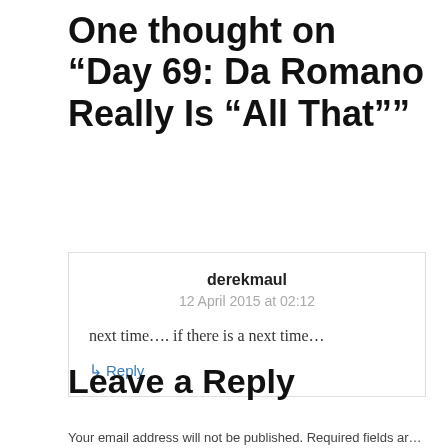One thought on “Day 69: Da Romano Really Is “All That””
derekmaul
12 April 2015 at 02:12
next time…. if there is a next time…
↳ Reply
Leave a Reply
Your email address will not be published. Required fields are marked *